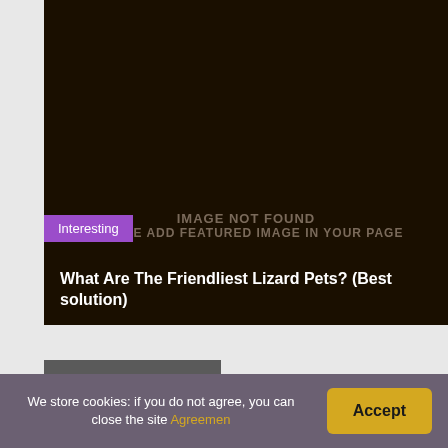[Figure (other): Dark brown/black background image placeholder showing 'IMAGE NOT FOUND PLEASE ADD FEATURED IMAGE IN YOUR PAGE' text in muted brown tones]
Interesting
What Are The Friendliest Lizard Pets? (Best solution)
LEAVE A REPLY
Your email address will not be published. Required
We store cookies: if you do not agree, you can close the site Agreemen